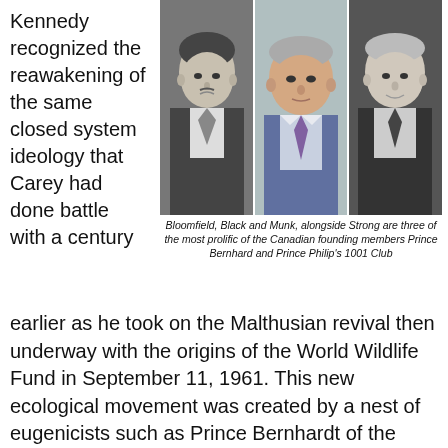Kennedy recognized the reawakening of the same closed system ideology that Carey had done battle with a century
[Figure (photo): Three portrait photographs side by side: Bloomfield (black and white), Black (color), and Munk (black and white)]
Bloomfield, Black and Munk, alongside Strong are three of the most prolific of the Canadian founding members Prince Bernhard and Prince Philip's 1001 Club
earlier as he took on the Malthusian revival then underway with the origins of the World Wildlife Fund in September 11, 1961. This new ecological movement was created by a nest of eugenicists such as Prince Bernhardt of the Netherlands, Prince Philip Mountbatten and Sir Julian Huxley (founder of UNESCO and President of the British Eugenics